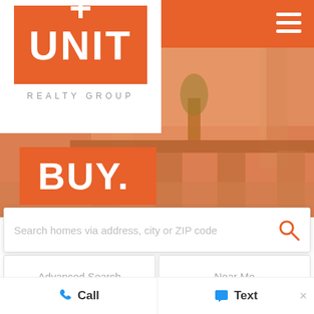[Figure (screenshot): Unit Realty Group website screenshot showing orange header with logo, BUY headline, property photo background, search bar, and bottom navigation]
BUY.
Search homes via address, city or ZIP code
Advanced Search
Near Me
How Not To Pay Too
Call
Text